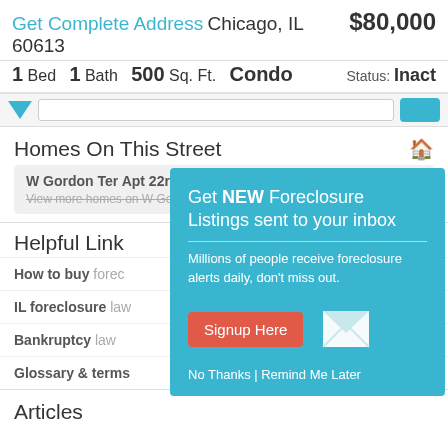Get Complete Address Chicago, IL 60613 $80,000
1 Bed  1 Bath  500 Sq. Ft.  Condo  Status: Inact
Homes On This Street
W Gordon Ter Apt 22r Chicago IL Homes
View more homes on W Gordon Ter Apt 22r
Helpful Link
How to buy forec
IL foreclosure law
Bankruptcy law
Glossary & terms
[Figure (infographic): Popup overlay: Get NEW Foreclosure Listings sent to your inbox. Millions of people receive foreclosure alerts daily, don't miss out. Signup Here button. No Thanks | Remind Me Later links. White envelope icon.]
Articles